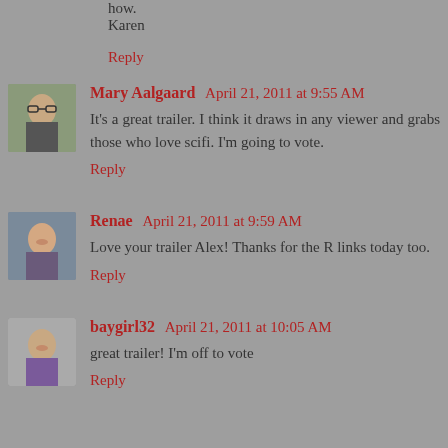how.
Karen
Reply
Mary Aalgaard  April 21, 2011 at 9:55 AM
It's a great trailer. I think it draws in any viewer and grabs those who love scifi. I'm going to vote.
Reply
Renae  April 21, 2011 at 9:59 AM
Love your trailer Alex! Thanks for the R links today too.
Reply
baygirl32  April 21, 2011 at 10:05 AM
great trailer! I'm off to vote
Reply